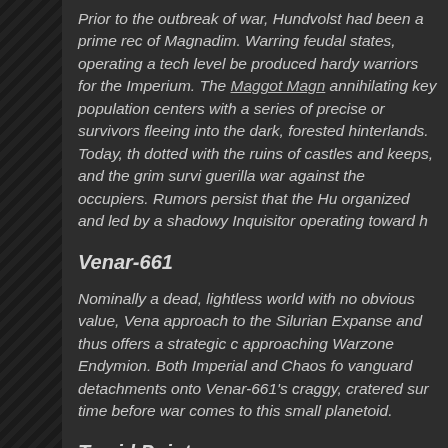Prior to the outbreak of war, Hundvolst had been a prime rec of Magnadim. Warring feudal states, operating a tech level be produced hardy warriors for the Imperium. The Maggot Magn annihilating key population centers with a series of precise or survivors fleeing into the dark, forested hinterlands. Today, th dotted with the ruins of castles and keeps, and the grim survi guerilla war against the occupiers. Rumors persist that the Hu organized and led by a shadowy Inquisitor operating toward h
Venar-661
Nominally a dead, lightless world with no obvious value, Vena approach to the Silurian Expanse and thus offers a strategic c approaching Warzone Endymion. Both Imperial and Chaos fo vanguard detachments onto Venar-661's craggy, cratered sur time before war comes to this small planetoid.
Torrid Pointe
Along the storm-wracked margins of Warzone Endymion, the keep one small escape corridor open. Torrid Pointe represen deep space route for refugees fleeing Warzone Endymion. A warships from the Imperial Navy and at least one Space Mar hold Torrid Pointe for as long as possible. Meanwhile, the M